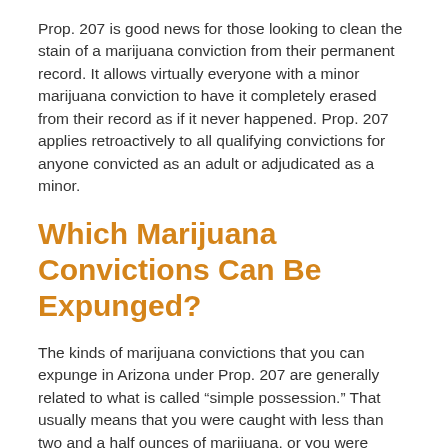Prop. 207 is good news for those looking to clean the stain of a marijuana conviction from their permanent record. It allows virtually everyone with a minor marijuana conviction to have it completely erased from their record as if it never happened. Prop. 207 applies retroactively to all qualifying convictions for anyone convicted as an adult or adjudicated as a minor.
Which Marijuana Convictions Can Be Expunged?
The kinds of marijuana convictions that you can expunge in Arizona under Prop. 207 are generally related to what is called “simple possession.” That usually means that you were caught with less than two and a half ounces of marijuana, or you were caught growing fewer than six marijuana plants.
In some cases, you may be eligible to expunge